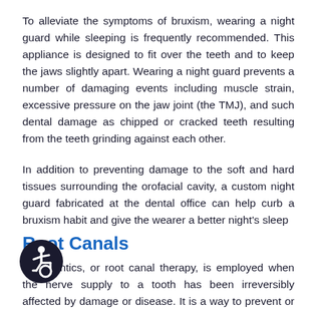To alleviate the symptoms of bruxism, wearing a night guard while sleeping is frequently recommended. This appliance is designed to fit over the teeth and to keep the jaws slightly apart. Wearing a night guard prevents a number of damaging events including muscle strain, excessive pressure on the jaw joint (the TMJ), and such dental damage as chipped or cracked teeth resulting from the teeth grinding against each other.
In addition to preventing damage to the soft and hard tissues surrounding the orofacial cavity, a custom night guard fabricated at the dental office can help curb a bruxism habit and give the wearer a better night's sleep
Root Canals
Endodontics, or root canal therapy, is employed when the nerve supply to a tooth has been irreversibly affected by damage or disease. It is a way to prevent or help resolve a dental infection and save a natural tooth from extraction. A root canal is performed when there is enough sound root and crown